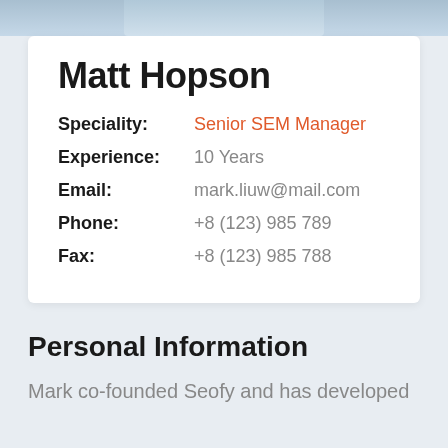[Figure (photo): Top strip showing partial photo of a person]
Matt Hopson
Speciality: Senior SEM Manager
Experience: 10 Years
Email: mark.liuw@mail.com
Phone: +8 (123) 985 789
Fax: +8 (123) 985 788
Personal Information
Mark co-founded Seofy and has developed